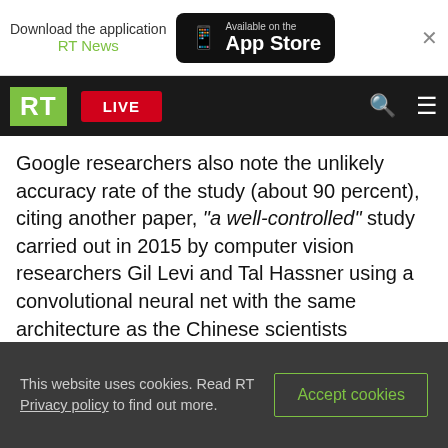[Figure (screenshot): App Store download banner with RT News label and black App Store button]
[Figure (screenshot): RT website navigation bar with green RT logo, red LIVE button, search and menu icons]
Google researchers also note the unlikely accuracy rate of the study (about 90 percent), citing another paper, "a well-controlled" study carried out in 2015 by computer vision researchers Gil Levi and Tal Hassner using a convolutional neural net with the same architecture as the Chinese scientists (AlexNet). The net was only able to guess the gender of a face with an accuracy of 86.8 percent.
You can share this story on social media:
This website uses cookies. Read RT Privacy policy to find out more.